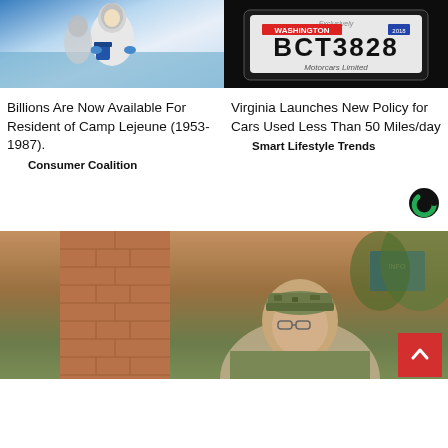[Figure (photo): Person in white protective gear/hazmat suit holding a blue container near water]
[Figure (photo): Washington state license plate reading BCT3828 with text Motorcars Limited on dark background]
Billions Are Now Available For Resident of Camp Lejeune (1953-1987).
Virginia Launches New Policy for Cars Used Less Than 50 Miles/day
Consumer Coalition
Smart Lifestyle Trends
[Figure (logo): Circular C logo (green and black) — sponsored content indicator]
[Figure (photo): Elderly person in military camouflage hat looking at brick wall]